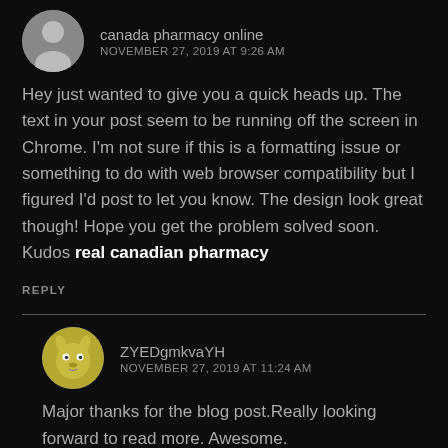canada pharmacy online
NOVEMBER 27, 2019 AT 9:26 AM
Hey just wanted to give you a quick heads up. The text in your post seem to be running off the screen in Chrome. I'm not sure if this is a formatting issue or something to do with web browser compatibility but I figured I'd post to let you know. The design look great though! Hope you get the problem solved soon. Kudos real canadian pharmacy
REPLY
ZYEDgmkvaYH
NOVEMBER 27, 2019 AT 11:24 AM
Major thanks for the blog post.Really looking forward to read more. Awesome.
REPLY